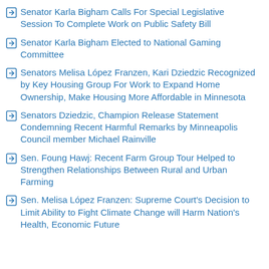Senator Karla Bigham Calls For Special Legislative Session To Complete Work on Public Safety Bill
Senator Karla Bigham Elected to National Gaming Committee
Senators Melisa López Franzen, Kari Dziedzic Recognized by Key Housing Group For Work to Expand Home Ownership, Make Housing More Affordable in Minnesota
Senators Dziedzic, Champion Release Statement Condemning Recent Harmful Remarks by Minneapolis Council member Michael Rainville
Sen. Foung Hawj: Recent Farm Group Tour Helped to Strengthen Relationships Between Rural and Urban Farming
Sen. Melisa López Franzen: Supreme Court's Decision to Limit Ability to Fight Climate Change will Harm Nation's Health, Economic Future